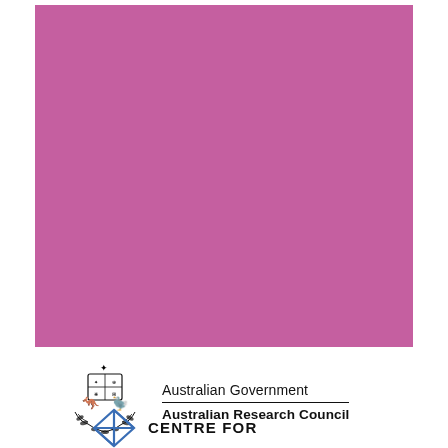[Figure (other): Large solid magenta/pink rectangle covering the upper portion of the page, serving as a cover image background.]
[Figure (logo): Australian Government Australian Research Council logo: black coat of arms with kangaroo and emu, with text 'Australian Government' above a horizontal line and 'Australian Research Council' below.]
[Figure (logo): Centre for logo: geometric diamond/kite shape outline in blue, with text 'CENTRE FOR' to the right.]